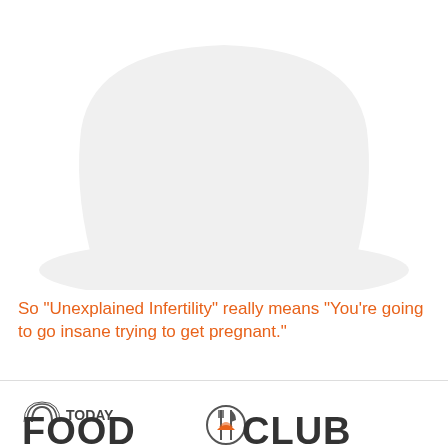[Figure (illustration): Light gray silhouette of a person's head/hair shape on white background]
So "Unexplained Infertility" really means "You're going to go insane trying to get pregnant."
[Figure (logo): TODAY Food Club logo with NBC peacock icon, fork and knife crossed in circle, orange sunrise emblem]